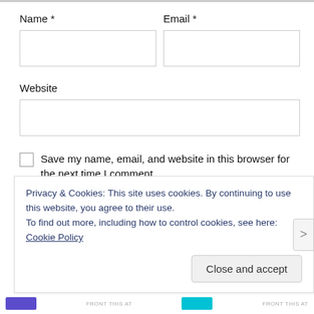Name *
Email *
Website
Save my name, email, and website in this browser for the next time I comment.
Privacy & Cookies: This site uses cookies. By continuing to use this website, you agree to their use.
To find out more, including how to control cookies, see here: Cookie Policy